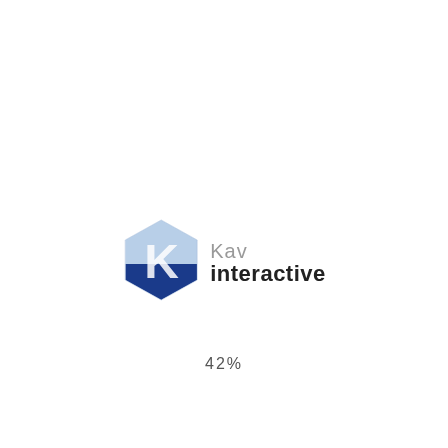[Figure (logo): Kav Interactive logo: a hexagon shape split into light blue upper half and dark navy blue lower half with a white K letter mark, next to text 'Kav' in gray and 'interactive' in dark bold.]
42%